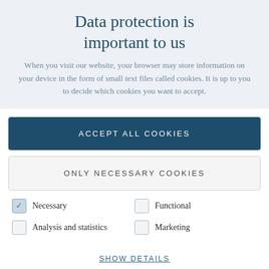Data protection is important to us
When you visit our website, your browser may store information on your device in the form of small text files called cookies. It is up to you to decide which cookies you want to accept.
ACCEPT ALL COOKIES
ONLY NECESSARY COOKIES
Necessary
Functional
Analysis and statistics
Marketing
SHOW DETAILS